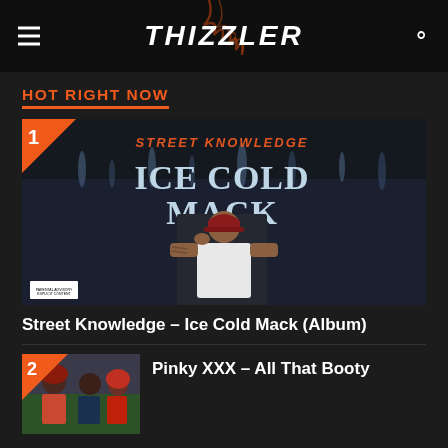THIZZLER
HOT RIGHT NOW
[Figure (photo): Album cover for Street Knowledge - Ice Cold Mack. A man wearing a red cap and white shirt poses with hand to head in front of a dark, icy backdrop with 'Street Knowledge Ice Cold Mack' text. Ranked #1.]
Street Knowledge – Ice Cold Mack (Album)
[Figure (photo): Thumbnail of Pinky XXX - All That Booty. Shows group of women. Ranked #2.]
Pinky XXX – All That Booty